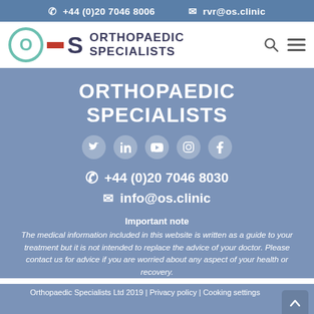+44 (0)20 7046 8006   rvr@os.clinic
[Figure (logo): Orthopaedic Specialists logo with teal O, red dash, dark S and text ORTHOPAEDIC SPECIALISTS]
ORTHOPAEDIC SPECIALISTS
[Figure (infographic): Social media icons: Twitter, LinkedIn, YouTube, Instagram, Facebook]
+44 (0)20 7046 8030
info@os.clinic
Important note
The medical information included in this website is written as a guide to your treatment but it is not intended to replace the advice of your doctor. Please contact us for advice if you are worried about any aspect of your health or recovery.
Orthopaedic Specialists Ltd 2019 | Privacy policy | Cooking settings